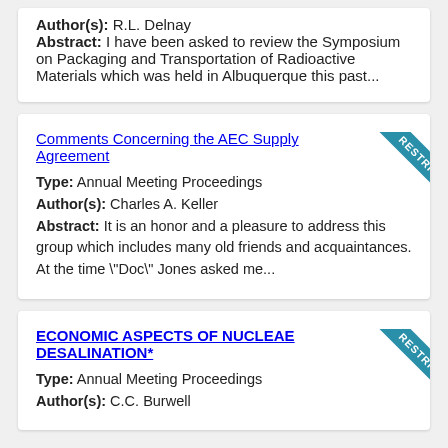Author(s): R.L. Delnay
Abstract: I have been asked to review the Symposium on Packaging and Transportation of Radioactive Materials which was held in Albuquerque this past...
Comments Concerning the AEC Supply Agreement
Type: Annual Meeting Proceedings
Author(s): Charles A. Keller
Abstract: It is an honor and a pleasure to address this group which includes many old friends and acquaintances. At the time "Doc" Jones asked me...
ECONOMIC ASPECTS OF NUCLEAE DESALINATION*
Type: Annual Meeting Proceedings
Author(s): C.C. Burwell